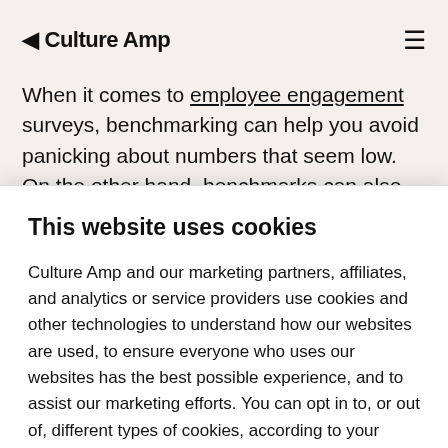Culture Amp
When it comes to employee engagement surveys, benchmarking can help you avoid panicking about numbers that seem low. On the other hand, benchmarks can also help highlight where you might want to strategize for improvement. Below, we'll
This website uses cookies
Culture Amp and our marketing partners, affiliates, and analytics or service providers use cookies and other technologies to understand how our websites are used, to ensure everyone who uses our websites has the best possible experience, and to assist our marketing efforts. You can opt in to, or out of, different types of cookies, according to your preferences.
Accept all cookies
Manage preferences